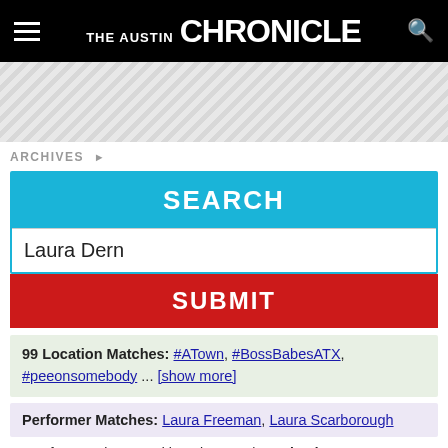THE AUSTIN CHRONICLE
[Figure (other): Ad banner with diagonal stripe pattern]
ARCHIVES ▶
SEARCH
Laura Dern
SUBMIT
99 Location Matches: #ATown, #BossBabesATX, #peeonsomebody ... [show more]
Performer Matches: Laura Freeman, Laura Scarborough
1-30 of 78 results, sorted by relevance | sort by date
Certain Women ★★★½